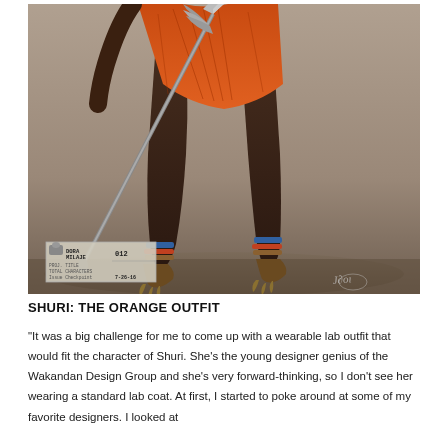[Figure (illustration): Concept art of Shuri (Dora Milaje character) from Black Panther. Shows the lower body and one arm of a warrior figure wearing an orange woven garment, dark tights, colorful beaded anklets, and claw-like golden sandals, holding a spear with an ornate silver head. Background is a muted sandy/grey ground. A concept art label box in the lower left reads 'DORA MILAJE 012' with a date of 7-26-16. An artist signature appears in the lower right.]
SHURI: THE ORANGE OUTFIT
"It was a big challenge for me to come up with a wearable lab outfit that would fit the character of Shuri. She's the young designer genius of the Wakandan Design Group and she's very forward-thinking, so I don't see her wearing a standard lab coat. At first, I started to poke around at some of my favorite designers. I looked at